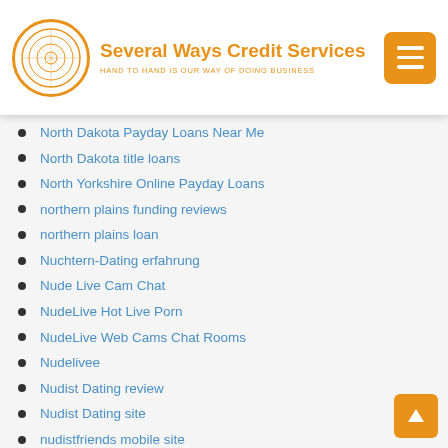Several Ways Credit Services — HAND TO HAND IS OUR WAY OF DOING BUSINESS
North Dakota Payday Loans Near Me
North Dakota title loans
North Yorkshire Online Payday Loans
northern plains funding reviews
northern plains loan
Nuchtern-Dating erfahrung
Nude Live Cam Chat
NudeLive Hot Live Porn
NudeLive Web Cams Chat Rooms
Nudelivee
Nudist Dating review
Nudist Dating site
nudistfriends mobile site
NudistFriends review
NudistFriends visitors
Oasis Active mobile
oasis active review
oasis cash
Oasis Dating visitors